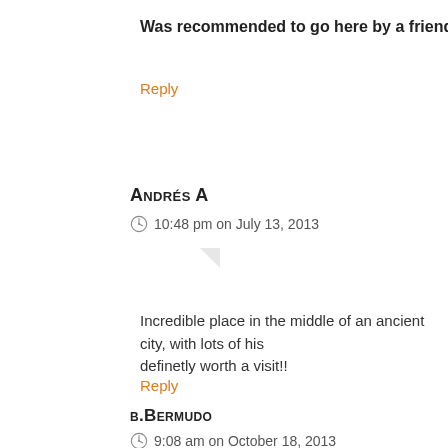Was recommended to go here by a friend and it was well w
Reply
Andrés A
10:48 pm on July 13, 2013
Incredible place in the middle of an ancient city, with lots of his definetly worth a visit!!
Reply
b.Bermudo
9:08 am on October 18, 2013